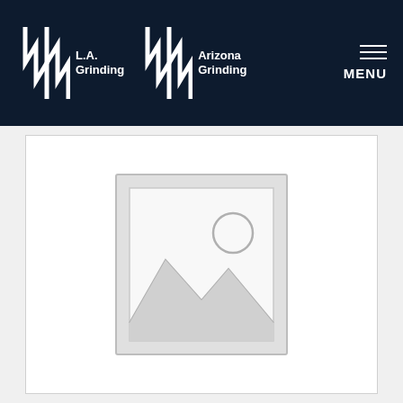L.A. Grinding | Arizona Grinding
[Figure (other): Hamburger menu icon and MENU label in top right of header]
[Figure (photo): Product image placeholder showing a generic image placeholder icon (mountain/landscape silhouette with sun circle) inside a light gray bordered box on white background]